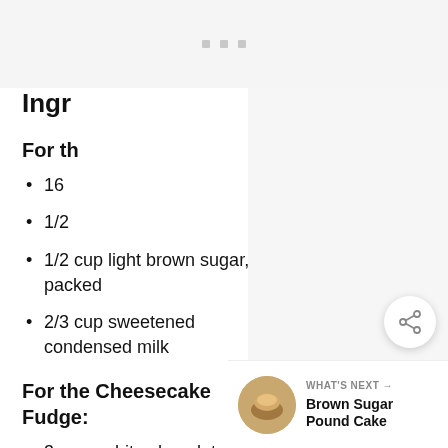[Figure (other): Gray ad placeholder area with three small gray squares centered]
Ingredients
For the Crust:
16 ...
1/2 ...
1/2 cup light brown sugar, packed
2/3 cup sweetened condensed milk
For the Cheesecake Fudge:
3 cups white chocolate chips
1-1/2 tablespoons butter
pinch of salt
1 cup sweetened condensed milk
[Figure (photo): Brown Sugar Pound Cake thumbnail photo in circular frame]
WHAT'S NEXT → Brown Sugar Pound Cake